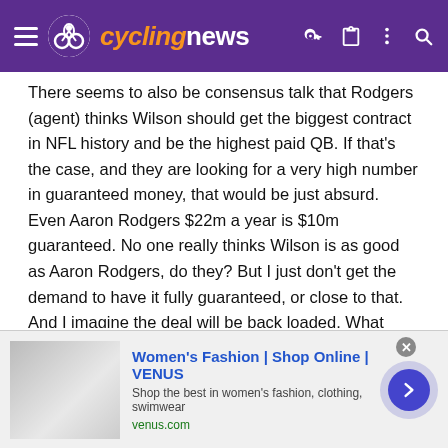cyclingnews
There seems to also be consensus talk that Rodgers (agent) thinks Wilson should get the biggest contract in NFL history and be the highest paid QB. If that's the case, and they are looking for a very high number in guaranteed money, that would be just absurd. Even Aaron Rodgers $22m a year is $10m guaranteed. No one really thinks Wilson is as good as Aaron Rodgers, do they? But I just don't get the demand to have it fully guaranteed, or close to that. And I imagine the deal will be back loaded. What happens if in 5 years he's making $30m a year, and $24m of that is guaranteed, and the team has few other players they can afford, and then he gets hurt?
I did some digging, and there are a few QBs that do have 100% guaranteed money. But most are low paying, or low pay rookie contracts. I was however surprised that Jamis Winston's contract is 5 year guaranteed at $6m a year. Who agreed to that? If I were
[Figure (screenshot): Advertisement banner for Women's Fashion | Shop Online | VENUS. Shows ad image on left, title in blue, subtitle text and venus.com URL, with a purple arrow button on the right.]